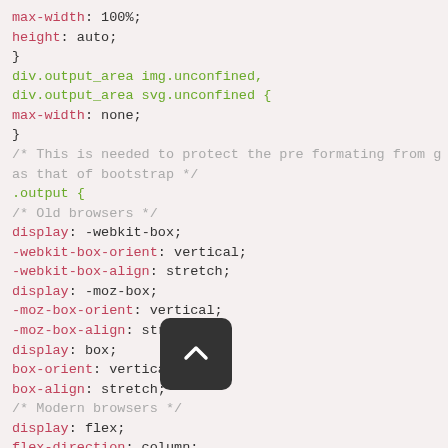CSS code snippet showing output area styling and flex box properties